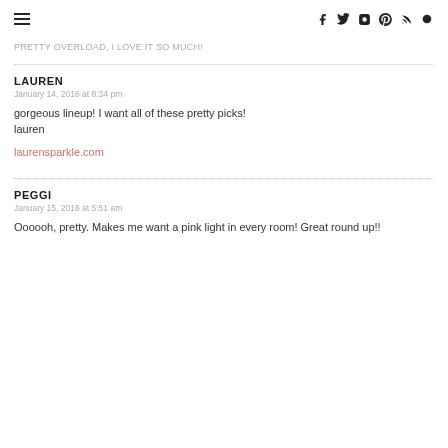≡  f  twitter  instagram  pinterest  rss  search
PRETTY OVERLOAD, I love it so much!
LAUREN
January 14, 2016 at 8:34 pm
gorgeous lineup! I want all of these pretty picks!
laurensparkle.com
PEGGI
January 15, 2016 at 5:51 am
Oooooh, pretty. Makes me want a pink light in every room! Great round up!!